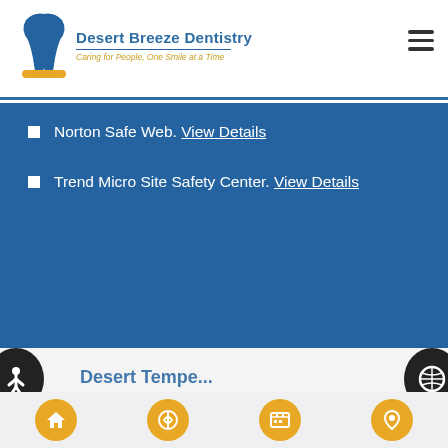[Figure (logo): Desert Breeze Dentistry logo with tooth icon, blue text, and gold tagline 'Caring for People, One Smile at a Time']
Norton Safe Web. View Details
Trend Micro Site Safety Center. View Details
Back to top of Cosmetic Dental Services
Tempe, AZ > Dental Cosmetics > Smile Makeover